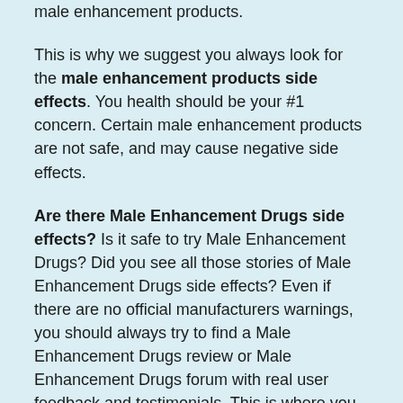male enhancement products.
This is why we suggest you always look for the male enhancement products side effects. You health should be your #1 concern. Certain male enhancement products are not safe, and may cause negative side effects.
Are there Male Enhancement Drugs side effects? Is it safe to try Male Enhancement Drugs? Did you see all those stories of Male Enhancement Drugs side effects? Even if there are no official manufacturers warnings, you should always try to find a Male Enhancement Drugs review or Male Enhancement Drugs forum with real user feedback and testimonials. This is where you can find a list of Male Enhancement Drugs side effects, problems and warnings. For your convenience we combined all possible side effects from our Male Enhancement Drugs forum and created this page with a list of Male Enhancement Drugs side effects.
Unfortunately, there have been numerous posts in Male Enhancement Drugs forum with Male Enhancement Drugs side effects. Male Enhancement Drugs may cause common unpleasant side effects of male enhancement products: